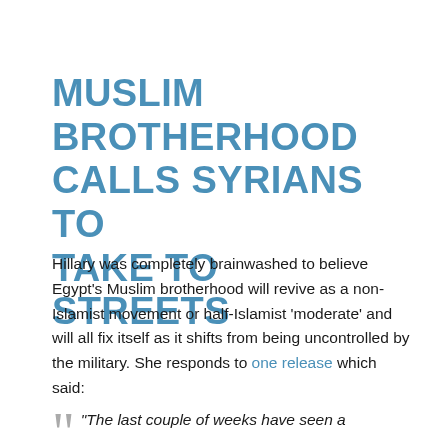MUSLIM BROTHERHOOD CALLS SYRIANS TO TAKE TO STREETS
Hillary was completely brainwashed to believe Egypt’s Muslim brotherhood will revive as a non-Islamist movement or half-Islamist ‘moderate’ and will all fix itself as it shifts from being uncontrolled by the military. She responds to one release which said:
“The last couple of weeks have seen a